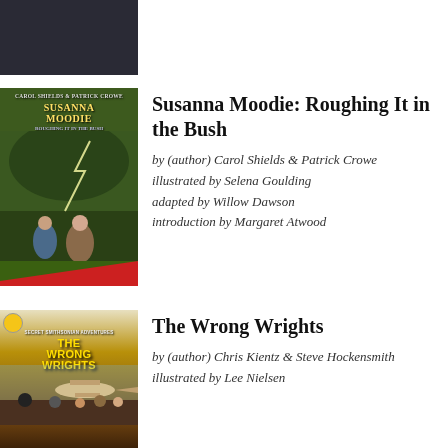[Figure (photo): Partial book cover at top of page, partially cropped, dark background with figures on motorbikes]
[Figure (photo): Book cover for Susanna Moodie: Roughing It in the Bush, showing two figures in storm-lit wilderness]
Susanna Moodie: Roughing It in the Bush
by (author) Carol Shields & Patrick Crowe
illustrated by Selena Goulding
adapted by Willow Dawson
introduction by Margaret Atwood
[Figure (photo): Book cover for The Wrong Wrights, showing Secret Smithsonian Adventures series badge, biplane, and group of characters]
The Wrong Wrights
by (author) Chris Kientz & Steve Hockensmith
illustrated by Lee Nielsen